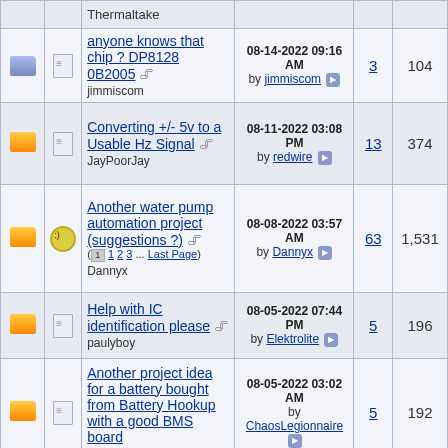|  |  | Thread Title | Last Post | Replies | Views |
| --- | --- | --- | --- | --- | --- |
|  |  | Thermaltake |  |  |  |
|  |  | anyone knows that chip ? DP8128 0B2005
jimmiscom | 08-14-2022 09:16 AM by jimmiscom | 3 | 104 |
|  |  | Converting +/- 5v to a Usable Hz Signal
JayPoorJay | 08-11-2022 03:08 PM by redwire | 13 | 374 |
|  |  | Another water pump automation project (suggestions ?)
( 1 2 3 ... Last Page)
Dannyx | 08-08-2022 03:57 AM by Dannyx | 63 | 1,531 |
|  |  | Help with IC identification please
paulyboy | 08-05-2022 07:44 PM by Elektrolite | 5 | 196 |
|  |  | Another project idea for a battery bought from Battery Hookup with a good BMS board
sam_sam_sam | 08-05-2022 03:02 AM by ChaosLegionnaire | 5 | 192 |
|  |  | New project idea from some batteries bought from Battery... | 08-04-2022 08:06 PM | 4 | 125 |